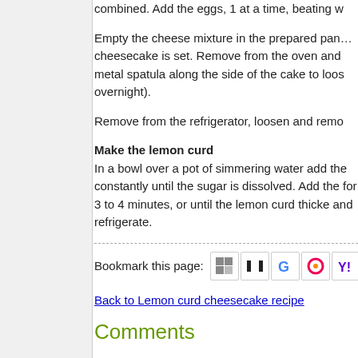combined. Add the eggs, 1 at a time, beating w
Empty the cheese mixture in the prepared pan... cheesecake is set. Remove from the oven and metal spatula along the side of the cake to loos overnight).
Remove from the refrigerator, loosen and remo
Make the lemon curd
In a bowl over a pot of simmering water add the constantly until the sugar is dissolved. Add the for 3 to 4 minutes, or until the lemon curd thicke and refrigerate.
Bookmark this page:
Back to Lemon curd cheesecake recipe
Comments
Post a comment
Your comment will have to be approved before it w
Name: